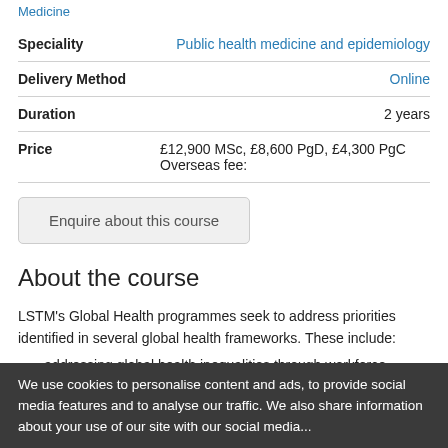Medicine
| Field | Value |
| --- | --- |
| Speciality | Public health medicine and epidemiology |
| Delivery Method | Online |
| Duration | 2 years |
| Price | £12,900 MSc, £8,600 PgD, £4,300 PgC Overseas fee: |
Enquire about this course
About the course
LSTM's Global Health programmes seek to address priorities identified in several global health frameworks. These include:
addressing global health inequalities through workforce development;
We use cookies to personalise content and ads, to provide social media features and to analyse our traffic. We also share information about your use of our site with our social media...